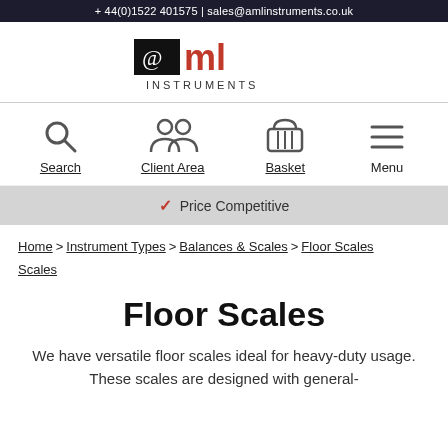+ 44(0)1522 401575 | sales@amlinstruments.co.uk
[Figure (logo): AML Instruments logo with black square containing stylized 'a' and red 'ml' text, with INSTRUMENTS below]
[Figure (infographic): Navigation icons: Search (magnifying glass), Client Area (people icon), Basket (basket icon), Menu (hamburger icon)]
✓ Price Competitive
Home > Instrument Types > Balances & Scales > Floor Scales
Floor Scales
We have versatile floor scales ideal for heavy-duty usage. These scales are designed with general-